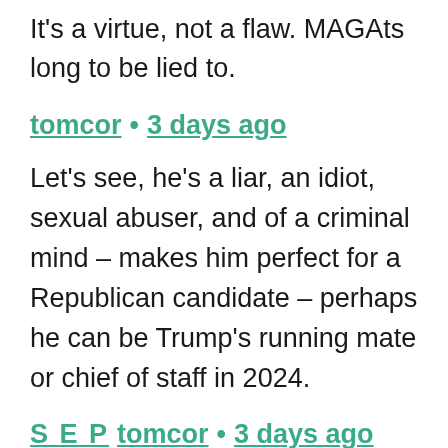It's a virtue, not a flaw. MAGAts long to be lied to.
tomcor • 3 days ago
Let's see, he's a liar, an idiot, sexual abuser, and of a criminal mind – makes him perfect for a Republican candidate – perhaps he can be Trump's running mate or chief of staff in 2024.
S E P tomcor • 3 days ago